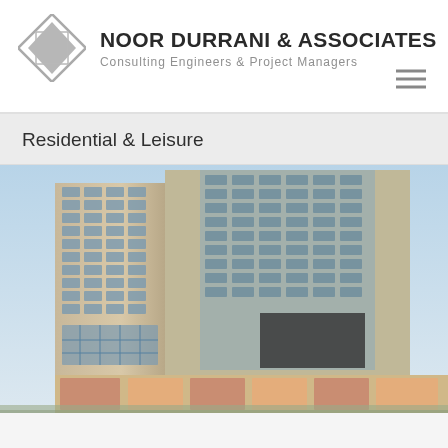NOOR DURRANI & ASSOCIATES
Consulting Engineers & Project Managers
Residential & Leisure
[Figure (photo): Rendering of a tall modern residential high-rise building with glass curtain wall facade and retail at ground floor, photographed or rendered from street level looking up, against a blue sky.]